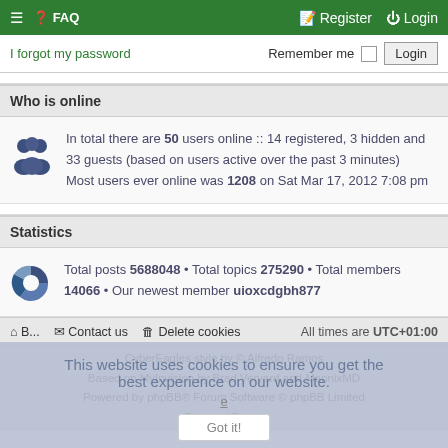≡ ❓ FAQ | Register | Login
I forgot my password   Remember me ☐  Login
Who is online
In total there are 50 users online :: 14 registered, 3 hidden and 33 guests (based on users active over the past 3 minutes)
Most users ever online was 1208 on Sat Mar 17, 2012 7:08 pm
Statistics
Total posts 5688048 • Total topics 275290 • Total members 14066 • Our newest member uioxcdgbh877
B... | Contact us | Delete cookies | All times are UTC+01:00
CyberEagles style by © Alfredo Ramos
Based on MyInvision by Brad Veryard and MannixMD
Powered by phpBB® Forum Software © phpBB Limited
Privacy | Terms
This website uses cookies to ensure you get the best experience on our website.
Got it!